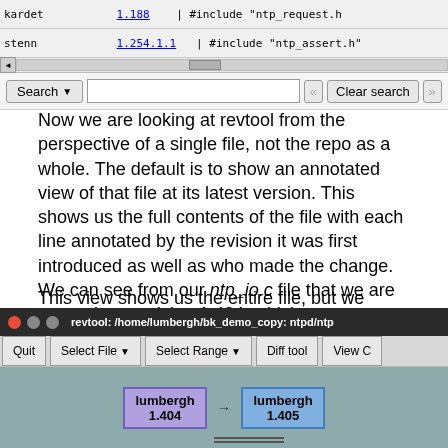[Figure (screenshot): Top portion of revtool GUI showing a file list with kardet and stenn entries, a horizontal scrollbar, and a Search bar with Clear search button]
Now we are looking at revtool from the perspective of a single file, not the repo as a whole. The default is to show an annotated view of that file at its latest version. This shows us the full contents of the file with each line annotated by the revision it was first introduced as well as who made the change. We can see from our ntp_io.c file that we are currently at revision 1.404, which was our recent commit.
This view shows us the entire file, but we really just wanted to see what was changed between our recent version and the previous version. For that we just hit d to bring up the diff view.
[Figure (screenshot): revtool window showing title bar with path /home/lumbergh/bk_demo_copy: ntpd/ntp, toolbar with Quit, Select File, Select Range, Diff tool, View C buttons, and canvas showing two revision boxes: lumbergh 1.404 and lumbergh 1.405 connected by an arrow, with underline indicators below]